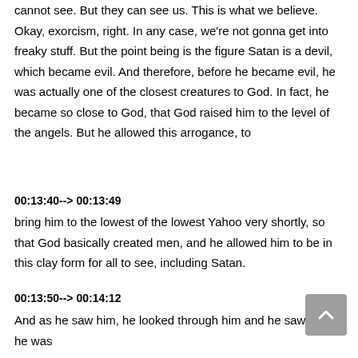cannot see. But they can see us. This is what we believe. Okay, exorcism, right. In any case, we're not gonna get into freaky stuff. But the point being is the figure Satan is a devil, which became evil. And therefore, before he became evil, he was actually one of the closest creatures to God. In fact, he became so close to God, that God raised him to the level of the angels. But he allowed this arrogance, to
00:13:40--> 00:13:49
bring him to the lowest of the lowest Yahoo very shortly, so that God basically created men, and he allowed him to be in this clay form for all to see, including Satan.
00:13:50--> 00:14:12
And as he saw him, he looked through him and he saw that he was